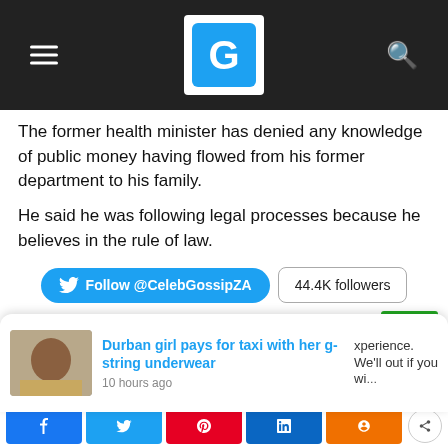GossipZA logo header
The former health minister has denied any knowledge of public money having flowed from his former department to his family.
He said he was following legal processes because he believes in the rule of law.
[Figure (infographic): Twitter follow button for @CelebGossipZA with 44.4K followers count]
[Figure (photo): YOU MAY LIKE section with Sleepto logo and photo of a man wearing a maroon LA baseball cap]
[Figure (infographic): Popup notification: Durban girl pays for taxi with her g-string underwear, 10 hours ago]
Social share buttons: Facebook, Twitter, Pinterest, LinkedIn, share icon